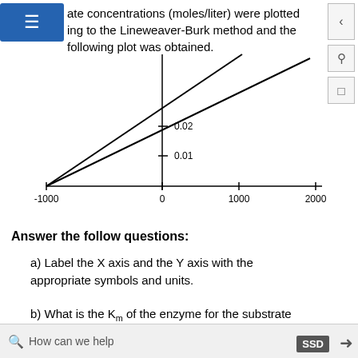ate concentrations (moles/liter) were plotted ing to the Lineweaver-Burk method and the following plot was obtained.
[Figure (continuous-plot): Lineweaver-Burk double-reciprocal plot showing two lines intersecting near the y-axis. The x-axis ranges from -1000 to 2000. The y-axis has tick marks at 0.01 and 0.02. Two lines cross at approximately x=0, y=0.02, originating from the same point on the negative x-axis near -1000.]
Answer the follow questions:
a) Label the X axis and the Y axis with the appropriate symbols and units.
b) What is the Km of the enzyme for the substrate in the absence of inhibitor?